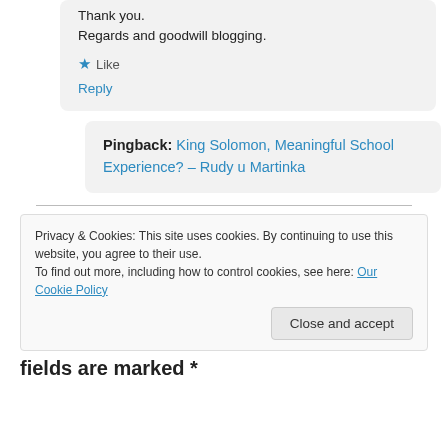Thank you.
Regards and goodwill blogging.
Like
Reply
Pingback: King Solomon, Meaningful School Experience? – Rudy u Martinka
Privacy & Cookies: This site uses cookies. By continuing to use this website, you agree to their use.
To find out more, including how to control cookies, see here: Our Cookie Policy
Close and accept
fields are marked *